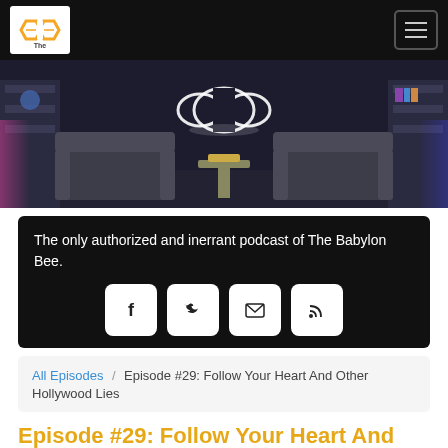The Babylon Bee
[Figure (photo): Studio set with dark background, two armchairs, a small table, and a glowing Babylon Bee logo sign on the wall]
The only authorized and inerrant podcast of The Babylon Bee.
[Figure (other): Social media icons: Facebook, Twitter, Email, RSS]
All Episodes / Episode #29: Follow Your Heart And Other Hollywood Lies
Episode #29: Follow Your Heart And Other Hollywood Lies